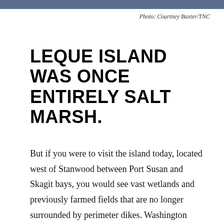Photo: Courtney Baxter/TNC
LEQUE ISLAND WAS ONCE ENTIRELY SALT MARSH.
But if you were to visit the island today, located west of Stanwood between Port Susan and Skagit bays, you would see vast wetlands and previously farmed fields that are no longer surrounded by perimeter dikes. Washington Department of Fish and Wildlife (WDFW) began acquiring properties on Leque Island in